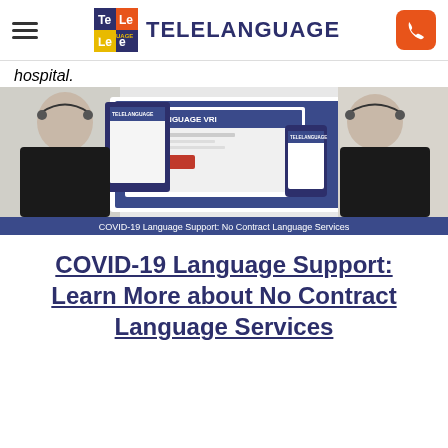TELELANGUAGE
hospital.
[Figure (photo): Banner image showing two women with headsets and Telelanguage VRI software on tablet/desktop/phone screens. Caption reads: COVID-19 Language Support: No Contract Language Services]
COVID-19 Language Support: Learn More about No Contract Language Services